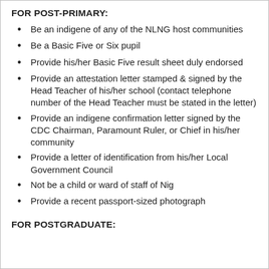FOR POST-PRIMARY:
Be an indigene of any of the NLNG host communities
Be a Basic Five or Six pupil
Provide his/her Basic Five result sheet duly endorsed
Provide an attestation letter stamped & signed by the Head Teacher of his/her school (contact telephone number of the Head Teacher must be stated in the letter)
Provide an indigene confirmation letter signed by the CDC Chairman, Paramount Ruler, or Chief in his/her community
Provide a letter of identification from his/her Local Government Council
Not be a child or ward of staff of Nig
Provide a recent passport-sized photograph
FOR POSTGRADUATE: